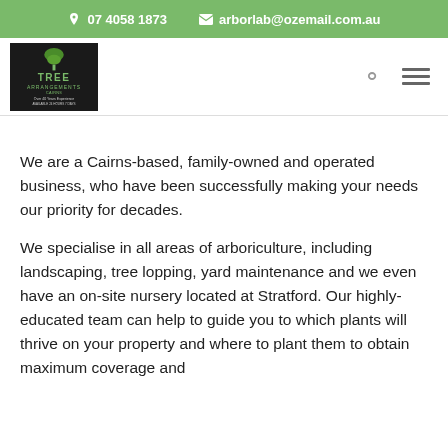07 4058 1873   arborlab@ozemail.com.au
[Figure (logo): Tree Arrangements logo — dark background with green tree icon and text 'TREE ARRANGEMENTS', 'Over 40 Years Experience', 'AVAILABLE 24 HOURS 7 DAYS']
We are a Cairns-based, family-owned and operated business, who have been successfully making your needs our priority for decades.
We specialise in all areas of arboriculture, including landscaping, tree lopping, yard maintenance and we even have an on-site nursery located at Stratford. Our highly-educated team can help to guide you to which plants will thrive on your property and where to plant them to obtain maximum coverage and